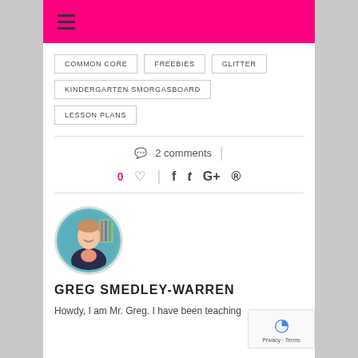[Figure (other): Pink header bar with hamburger menu icon]
COMMON CORE
FREEBIES
GLITTER
KINDERGARTEN SMORGASBOARD
LESSON PLANS
2 comments
0 ♡ | f t G+ p
[Figure (photo): Circular profile photo of Greg Smedley-Warren, a man in a suit smiling]
GREG SMEDLEY-WARREN
Howdy, I am Mr. Greg. I have been teaching